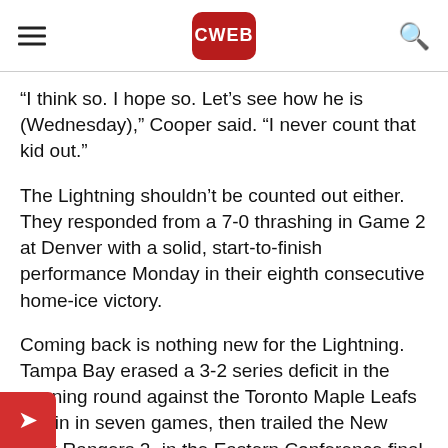CWEB
“I think so. I hope so. Let’s see how he is (Wednesday),” Cooper said. “I never count that kid out.”
The Lightning shouldn’t be counted out either. They responded from a 7-0 thrashing in Game 2 at Denver with a solid, start-to-finish performance Monday in their eighth consecutive home-ice victory.
Coming back is nothing new for the Lightning. Tampa Bay erased a 3-2 series deficit in the opening round against the Toronto Maple Leafs to win in seven games, then trailed the New York Rangers 2- in the Eastern Conference final before claiming